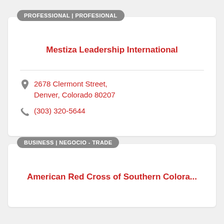PROFESSIONAL | PROFESIONAL
Mestiza Leadership International
2678 Clermont Street, Denver, Colorado 80207
(303) 320-5644
BUSINESS | NEGOCIO - TRADE
American Red Cross of Southern Colora...